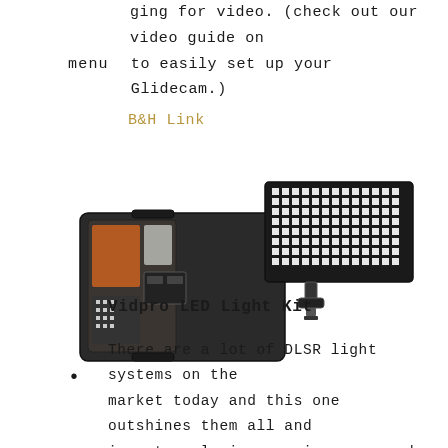ging for video. (check out our video guide on menu to easily set up your Glidecam.)
B&H Link
[Figure (photo): Vidpro LED light kit shown outside its open portable hard case, with LED panel, orange and silver diffusion gels, charger, and battery visible]
Vidpro LED Light Kit
There are a lot of DLSR light systems on the market today and this one outshines them all and is extremely inexpensive compared to the rest. The Vidpro LED light kit comes in a portable